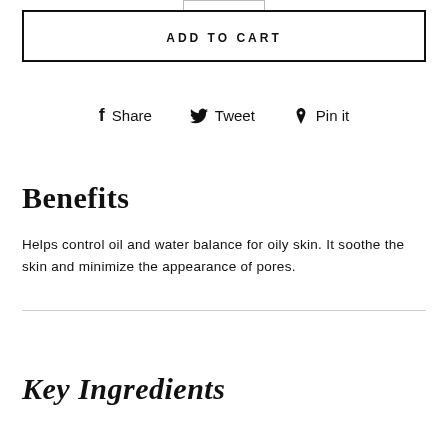ADD TO CART
Share  Tweet  Pin it
Benefits
Helps control oil and water balance for oily skin. It soothe the skin and minimize the appearance of pores.
Key Ingredients